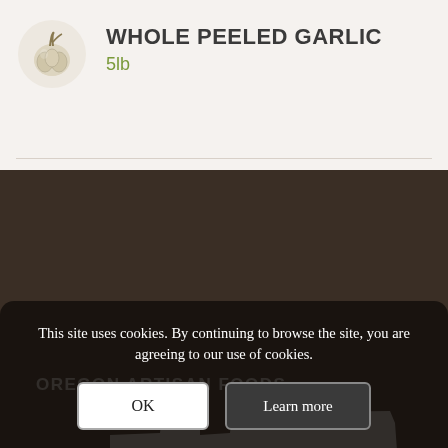[Figure (photo): Garlic bulb icon/photo in circular frame]
WHOLE PEELED GARLIC
5lb
OREGON ARTISAN FOODS
[Figure (map): White silhouette of the state of Oregon on dark brown background]
This site uses cookies. By continuing to browse the site, you are agreeing to our use of cookies.
OK
Learn more